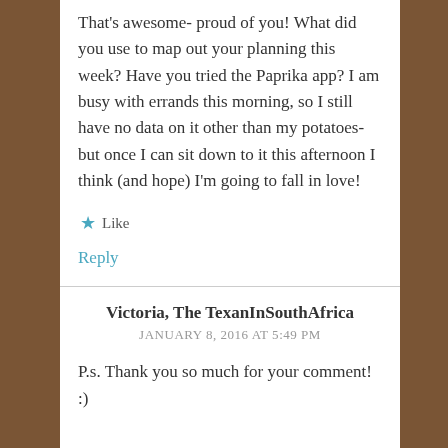That's awesome- proud of you! What did you use to map out your planning this week? Have you tried the Paprika app? I am busy with errands this morning, so I still have no data on it other than my potatoes- but once I can sit down to it this afternoon I think (and hope) I'm going to fall in love!
★ Like
Reply
Victoria, The TexanInSouthAfrica
JANUARY 8, 2016 AT 5:49 PM
P.s. Thank you so much for your comment! :)